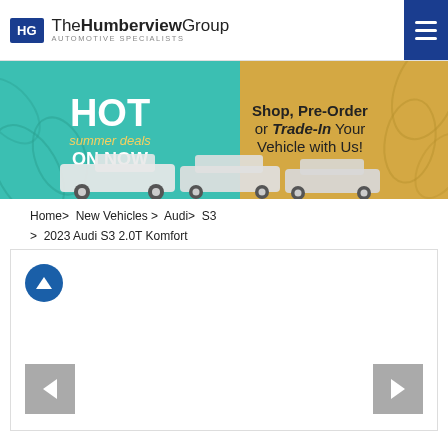HG The Humberview Group AUTOMOTIVE SPECIALISTS
[Figure (infographic): HOT summer deals ON NOW - Shop, Pre-Order or Trade-In Your Vehicle with Us! Banner with teal and gold background showing pickup truck, SUV, and sedan]
Home > New Vehicles > Audi > S3 > 2023 Audi S3 2.0T Komfort
[Figure (illustration): Vehicle image gallery area with up-arrow scroll button and left/right navigation chevron buttons]